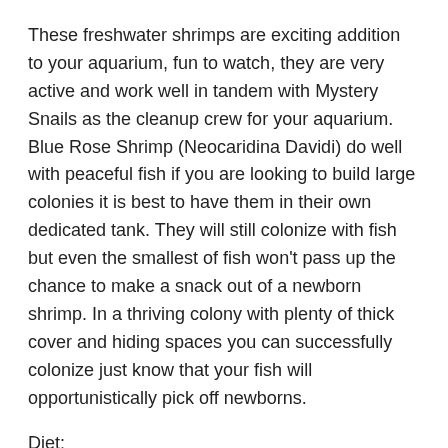These freshwater shrimps are exciting addition to your aquarium, fun to watch, they are very active and work well in tandem with Mystery Snails as the cleanup crew for your aquarium.  Blue Rose Shrimp (Neocaridina Davidi) do well with peaceful fish if you are looking to build large colonies it is best to have them in their own dedicated tank.  They will still colonize with fish but even the smallest of fish won't pass up the chance to make a snack out of a newborn shrimp.  In a thriving colony with plenty of thick cover and hiding spaces you can successfully colonize just know that your fish will opportunistically pick off newborns.
Diet:
Shrimp are omnivores and will eat a variety of foods, they will eat algae, blanched vegetables, bacteria that grows on Catappa leaves, Cholla wood, and Alder cones as they break down and decompose and of course shrimp pellets.  In an established